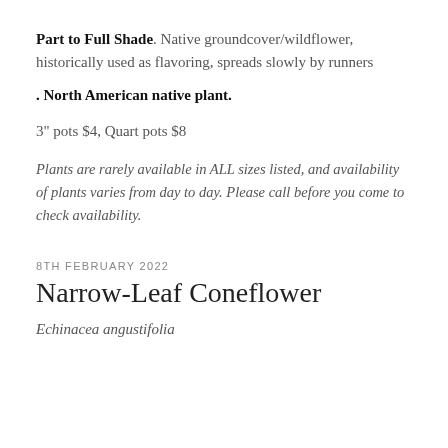Part to Full Shade. Native groundcover/wildflower, historically used as flavoring, spreads slowly by runners
. North American native plant.
3" pots $4, Quart pots $8
Plants are rarely available in ALL sizes listed, and availability of plants varies from day to day. Please call before you come to check availability.
8TH FEBRUARY 2022
Narrow-Leaf Coneflower
Echinacea angustifolia